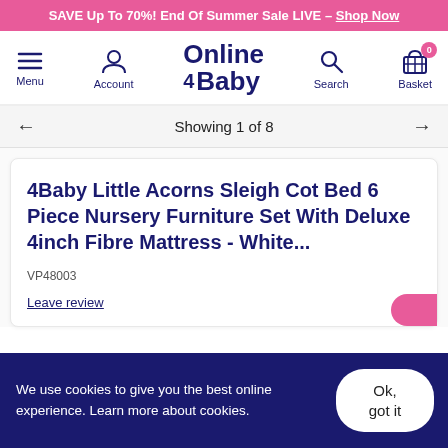SAVE Up To 70%! End Of Summer Sale LIVE – Shop Now
[Figure (logo): Online 4 Baby logo with navigation: Menu, Account, Search, Basket (0 items)]
Showing 1 of 8
4Baby Little Acorns Sleigh Cot Bed 6 Piece Nursery Furniture Set With Deluxe 4inch Fibre Mattress - White...
VP48003
Leave review
We use cookies to give you the best online experience. Learn more about cookies.